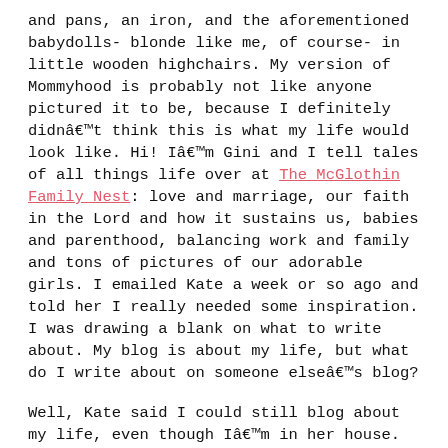and pans, an iron, and the aforementioned babydolls- blonde like me, of course- in little wooden highchairs. My version of Mommyhood is probably not like anyone pictured it to be, because I definitely didnât think this is what my life would look like. Hi! Iâm Gini and I tell tales of all things life over at The McGlothin Family Nest: love and marriage, our faith in the Lord and how it sustains us, babies and parenthood, balancing work and family and tons of pictures of our adorable girls. I emailed Kate a week or so ago and told her I really needed some inspiration. I was drawing a blank on what to write about. My blog is about my life, but what do I write about on someone elseâs blog?
Well, Kate said I could still blog about my life, even though Iâm in her house. So thanks, Kate for the hospitality. But where do I begin? Probably on the day I married my husband and best friend, Luke. He